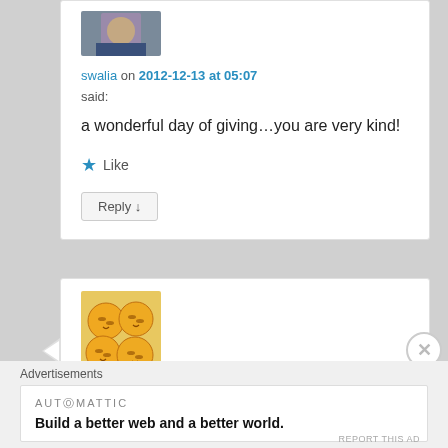[Figure (photo): Avatar photo of user swalia, cropped portrait]
swalia on 2012-12-13 at 05:07
said:
a wonderful day of giving…you are very kind!
★ Like
Reply ↓
[Figure (photo): Avatar photo of ETrade Supply showing baked goods (round smiley-face muffins/bread rolls) on a table]
ETrade Supply on 2012-12-13 at
Advertisements
AUTOMATTIC
Build a better web and a better world.
REPORT THIS AD